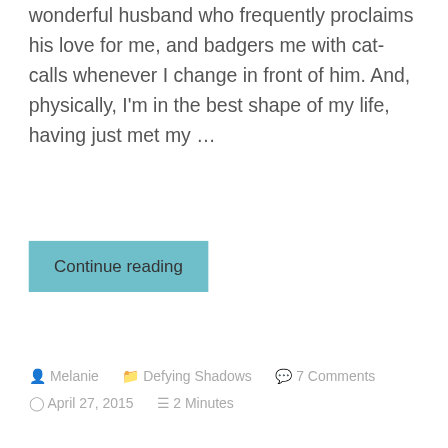wonderful husband who frequently proclaims his love for me, and badgers me with cat-calls whenever I change in front of him. And, physically, I'm in the best shape of my life, having just met my …
Continue reading
Melanie   Defying Shadows   7 Comments   April 27, 2015   2 Minutes
Don't Let Your Struggle Become Your Identity
Depression and anxiety are difficult struggles to